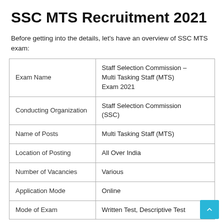SSC MTS Recruitment 2021
Before getting into the details, let's have an overview of SSC MTS exam:
|  |  |
| --- | --- |
| Exam Name | Staff Selection Commission – Multi Tasking Staff (MTS) Exam 2021 |
| Conducting Organization | Staff Selection Commission (SSC) |
| Name of Posts | Multi Tasking Staff (MTS) |
| Location of Posting | All Over India |
| Number of Vacancies | Various |
| Application Mode | Online |
| Mode of Exam | Written Test, Descriptive Test |